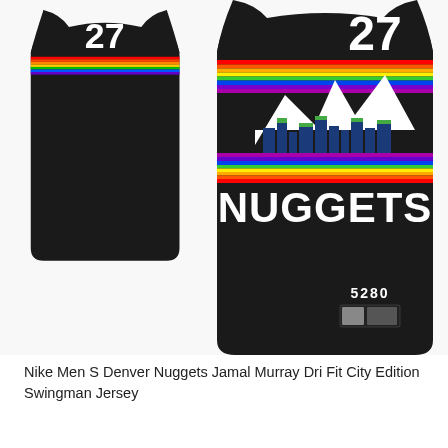[Figure (photo): Product photo showing two Denver Nuggets #27 Jamal Murray Dri Fit City Edition Swingman Jerseys on a white background. The back jersey is shown on the left (smaller, dark view), and the front jersey is shown on the right (larger). Both jerseys are black with a rainbow stripe band across the chest featuring the Denver skyline/mountains logo and 'NUGGETS' text in white. The number 27 appears in white on both jerseys. The front jersey also shows '5280' and an NBA/Nike tag near the bottom hem.]
Nike Men S Denver Nuggets Jamal Murray Dri Fit City Edition Swingman Jersey